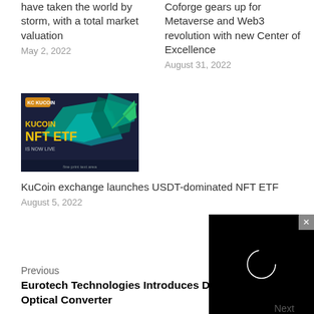have taken the world by storm, with a total market valuation
May 2, 2022
Coforge gears up for Metaverse and Web3 revolution with new Center of Excellence
August 31, 2022
[Figure (photo): KuCoin NFT ETF promotional banner with dark blue/teal background and geometric graphics]
KuCoin exchange launches USDT-dominated NFT ETF
August 5, 2022
Previous
Eurotech Technologies Introduces D… Optical Converter
[Figure (screenshot): Video player overlay with black background and circular loading/play indicator]
Next